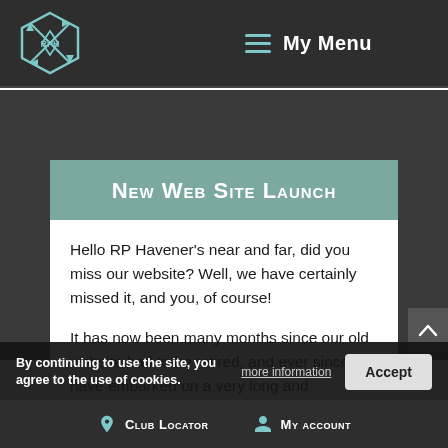My Menu
New Web Site Launch
Hello RP Havener's near and far, did you miss our website? Well, we have certainly missed it, and you, of course!
It has now been many months since our old website had to be retired, and ever since, we have embarked on a very long and complicated campaigns to launch a new...
By continuing to use the site, you agree to the use of cookies.
Club Locator   My account